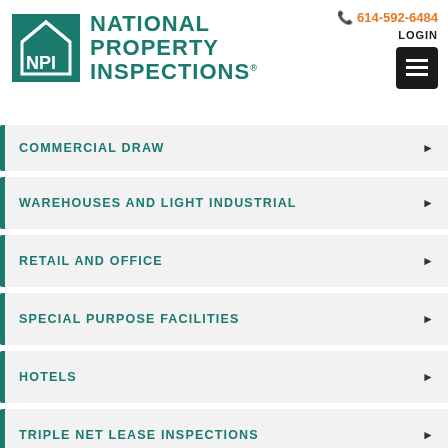[Figure (logo): National Property Inspections (NPI) logo with teal house icon and bold teal text]
614-592-6484
LOGIN
COMMERCIAL DRAW
WAREHOUSES AND LIGHT INDUSTRIAL
RETAIL AND OFFICE
SPECIAL PURPOSE FACILITIES
HOTELS
TRIPLE NET LEASE INSPECTIONS